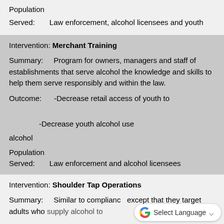Population Served: Law enforcement, alcohol licensees and youth
Intervention: Merchant Training
Summary: Program for owners, managers and staff of establishments that serve alcohol the knowledge and skills to help them serve responsibly and within the law.
Outcome: -Decrease retail access of youth to alcohol
-Decrease youth alcohol use
Population Served: Law enforcement and alcohol licensees
Intervention: Shoulder Tap Operations
Summary: Similar to compliance except that they target adults who supply alcohol to